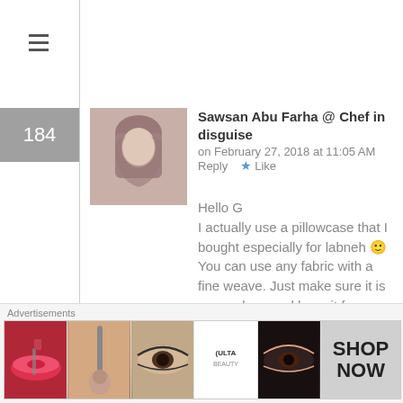[Figure (screenshot): Hamburger menu icon (three horizontal lines)]
184
[Figure (photo): Profile photo of Sawsan Abu Farha, a woman wearing a hijab]
Sawsan Abu Farha @ Chef in disguise on February 27, 2018 at 11:05 AM   Reply  ★ Like
Hello G
I actually use a pillowcase that I bought especially for labneh 🙂 You can use any fabric with a fine weave. Just make sure it is super clean and keep it for labneh only
185
Palestinian zaatar rolls – Chef in
Advertisements
[Figure (photo): Advertisement banner showing makeup products and ULTA beauty brand with SHOP NOW button]